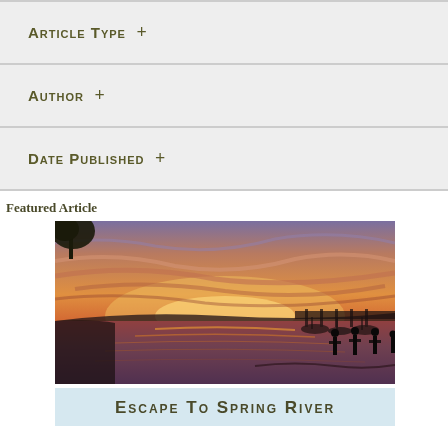Article Type +
Author +
Date Published +
Featured Article
[Figure (photo): Sunset over a lake with silhouettes of people standing on a dock or in shallow water. Dramatic orange and purple sky reflected in the water. Marina with boats visible in background on the right.]
Escape to Spring River